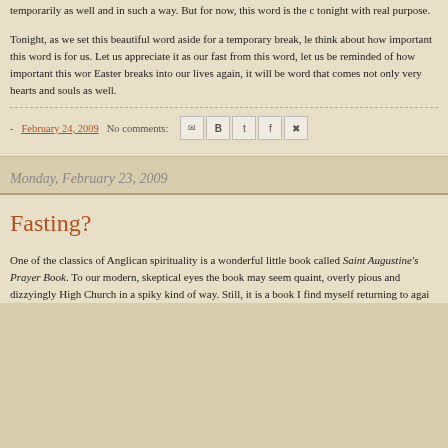temporarily as well and in such a way. But for now, this word is the c tonight with real purpose.
Tonight, as we set this beautiful word aside for a temporary break, le think about how important this word is for us. Let us appreciate it as our fast from this word, let us be reminded of how important this wor Easter breaks into our lives again, it will be word that comes not only very hearts and souls as well.
- February 24, 2009   No comments:
Monday, February 23, 2009
Fasting?
One of the classics of Anglican spirituality is a wonderful little book called Saint Augustine's Prayer Book. To our modern, skeptical eyes the book may seem quaint, overly pious and dizzyingly High Church in a spiky kind of way. Still, it is a book I find myself returning to agai